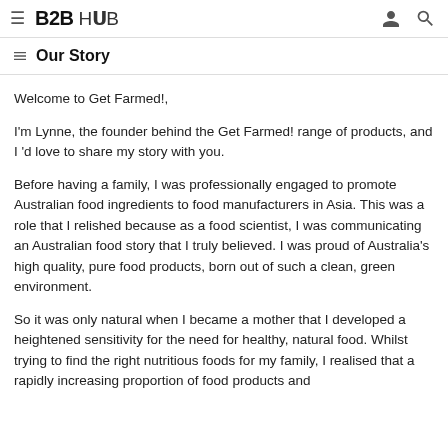B2B HUB
Our Story
Welcome to Get Farmed!,
I'm Lynne, the founder behind the Get Farmed! range of products, and I 'd love to share my story with you.
Before having a family, I was professionally engaged to promote Australian food ingredients to food manufacturers in Asia. This was a role that I relished because as a food scientist, I was communicating an Australian food story that I truly believed. I was proud of Australia's high quality, pure food products, born out of such a clean, green environment.
So it was only natural when I became a mother that I developed a heightened sensitivity for the need for healthy, natural food. Whilst trying to find the right nutritious foods for my family, I realised that a rapidly increasing proportion of food products and